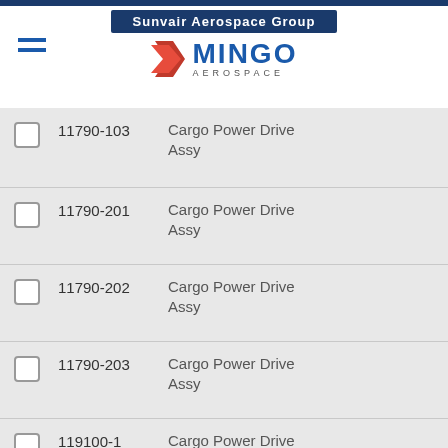Sunvair Aerospace Group | Mingo Aerospace
| Select | Part Number | Description |
| --- | --- | --- |
| ☐ | 11790-103 | Cargo Power Drive Assy |
| ☐ | 11790-201 | Cargo Power Drive Assy |
| ☐ | 11790-202 | Cargo Power Drive Assy |
| ☐ | 11790-203 | Cargo Power Drive Assy |
| ☐ | 119100-1 | Cargo Power Drive Unit |
| ☐ | 119100-1 | Cargo Power Drive Unit |
| ☐ | 119100-1 | Cargo Power Drive Unit |